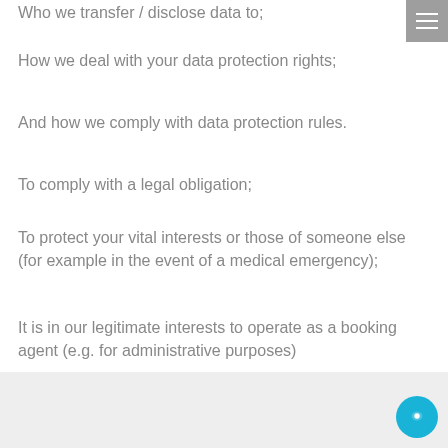Who we transfer / disclose data to;
How we deal with your data protection rights;
And how we comply with data protection rules.
To comply with a legal obligation;
To protect your vital interests or those of someone else (for example in the event of a medical emergency);
It is in our legitimate interests to operate as a booking agent (e.g. for administrative purposes)